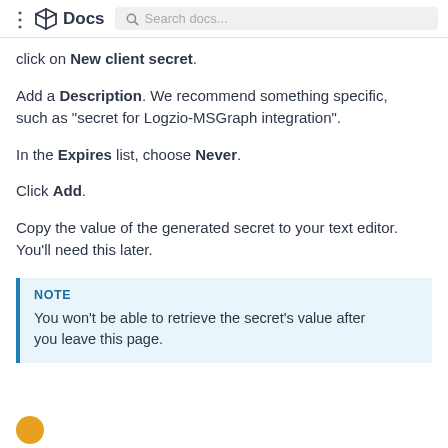Docs  Search docs...
click on New client secret.
Add a Description. We recommend something specific, such as "secret for Logzio-MSGraph integration".
In the Expires list, choose Never.
Click Add.
Copy the value of the generated secret to your text editor. You'll need this later.
NOTE
You won't be able to retrieve the secret's value after you leave this page.